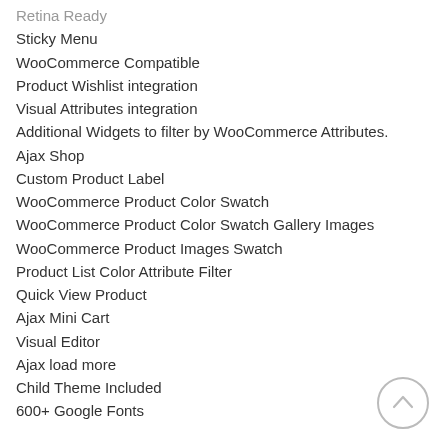Retina Ready
Sticky Menu
WooCommerce Compatible
Product Wishlist integration
Visual Attributes integration
Additional Widgets to filter by WooCommerce Attributes.
Ajax Shop
Custom Product Label
WooCommerce Product Color Swatch
WooCommerce Product Color Swatch Gallery Images
WooCommerce Product Images Swatch
Product List Color Attribute Filter
Quick View Product
Ajax Mini Cart
Visual Editor
Ajax load more
Child Theme Included
600+ Google Fonts
[Figure (other): Back to top button - circular arrow icon]